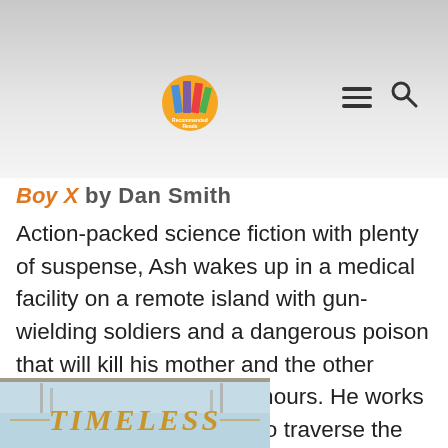[Figure (screenshot): Website header with logo (colorful book icon with 'Recommended Reads' text) on left, hamburger menu and search icon on right, against a light gray background]
Boy X by Dan Smith
Action-packed science fiction with plenty of suspense, Ash wakes up in a medical facility on a remote island with gun-wielding soldiers and a dangerous poison that will kill his mother and the other trapped scientists within hours. He works with a girl named Isabel to traverse the island in search for the antidote carried by the soldiers. Of course, it won't be easy. And there are more dangers than he knows.
[Figure (photo): Bottom portion of a book cover showing the word TIMELESS in ornate golden lettering against a light blue/sky background]